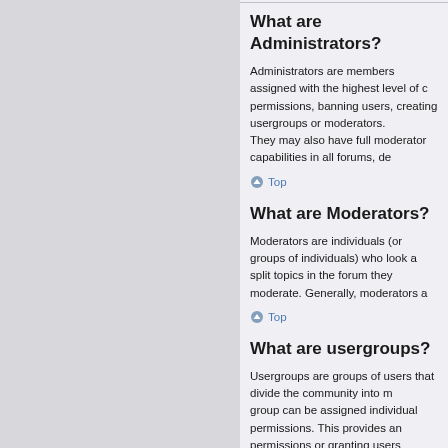What are Administrators?
Administrators are members assigned with the highest level of control permissions, banning users, creating usergroups or moderators. They may also have full moderator capabilities in all forums, de
Top
What are Moderators?
Moderators are individuals (or groups of individuals) who look a split topics in the forum they moderate. Generally, moderators a
Top
What are usergroups?
Usergroups are groups of users that divide the community into m group can be assigned individual permissions. This provides an permissions or granting users access to a private forum.
Top
Where are the usergroups and how do I join o
You can view all usergroups via the “Usergroups” link within you have open access, however. Some may require approval to join